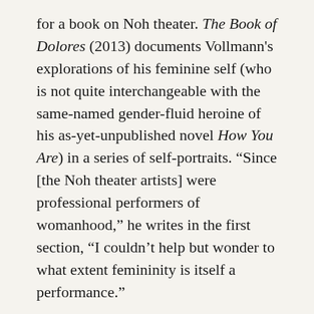for a book on Noh theater. The Book of Dolores (2013) documents Vollmann's explorations of his feminine self (who is not quite interchangeable with the same-named gender-fluid heroine of his as-yet-unpublished novel How You Are) in a series of self-portraits. “Since [the Noh theater artists] were professional performers of womanhood,” he writes in the first section, “I couldn’t help but wonder to what extent femininity is itself a performance.”
Dolores is not an overtly beautiful woman, at first glance, but she has nice lips and noble cheekbones beneath the rough skin and baked potato of a nose. Her smile is different than Vollmann’s, more unguarded. An avatar of the